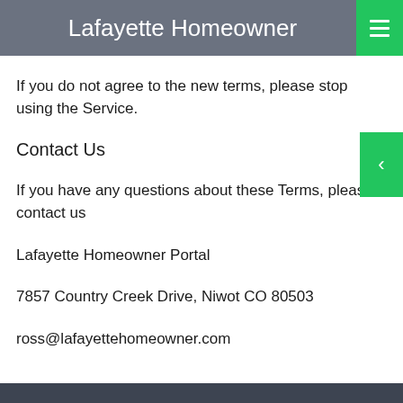Lafayette Homeowner
If you do not agree to the new terms, please stop using the Service.
Contact Us
If you have any questions about these Terms, please contact us
Lafayette Homeowner Portal
7857 Country Creek Drive, Niwot CO 80503
ross@lafayettehomeowner.com